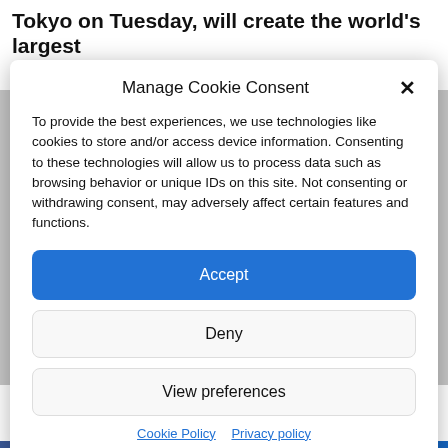Tokyo on Tuesday, will create the world's largest open trade zone.
Manage Cookie Consent
To provide the best experiences, we use technologies like cookies to store and/or access device information. Consenting to these technologies will allow us to process data such as browsing behavior or unique IDs on this site. Not consenting or withdrawing consent, may adversely affect certain features and functions.
Accept
Deny
View preferences
Cookie Policy  Privacy policy
Europe.